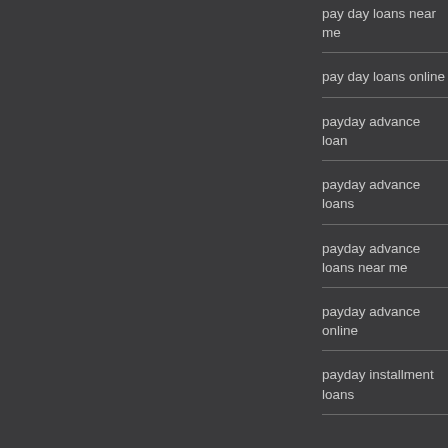pay day loans near me
pay day loans online
payday advance loan
payday advance loans
payday advance loans near me
payday advance online
payday installment loans